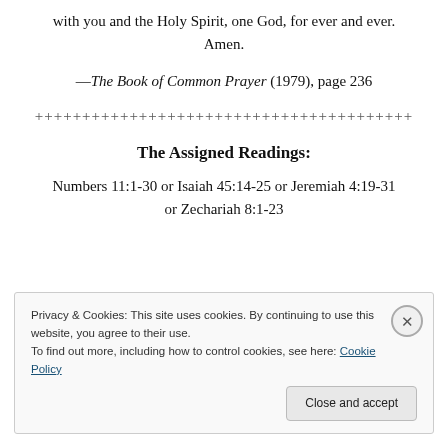with you and the Holy Spirit, one God, for ever and ever. Amen.
—The Book of Common Prayer (1979), page 236
++++++++++++++++++++++++++++++++++++++
The Assigned Readings:
Numbers 11:1-30 or Isaiah 45:14-25 or Jeremiah 4:19-31 or Zechariah 8:1-23
Privacy & Cookies: This site uses cookies. By continuing to use this website, you agree to their use. To find out more, including how to control cookies, see here: Cookie Policy